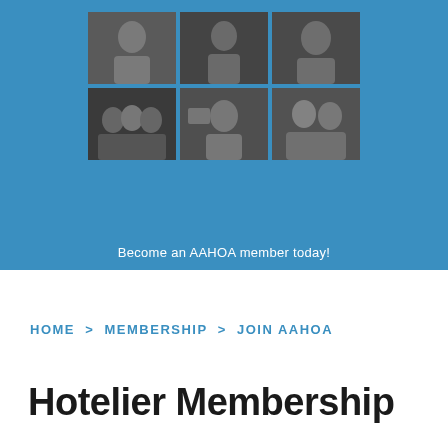[Figure (photo): Blue banner with a 2x3 grid of black-and-white photos of people at events and gatherings, with text 'Become an AAHOA member today!' at the bottom]
HOME > MEMBERSHIP > JOIN AAHOA
Hotelier Membership